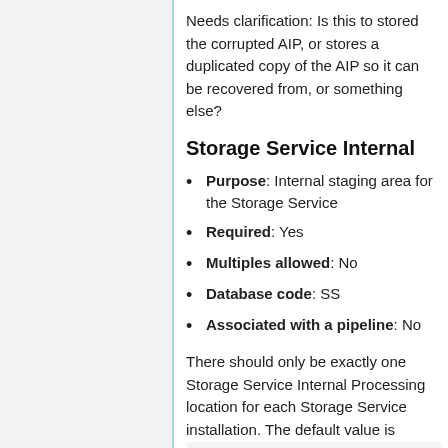Needs clarification: Is this to stored the corrupted AIP, or stores a duplicated copy of the AIP so it can be recovered from, or something else?
Storage Service Internal
Purpose: Internal staging area for the Storage Service
Required: Yes
Multiples allowed: No
Database code: SS
Associated with a pipeline: No
There should only be exactly one Storage Service Internal Processing location for each Storage Service installation. The default value is /var/archivematica/storage_servi in a Local Filesystem. This is required for the Storage Service to run, and must be